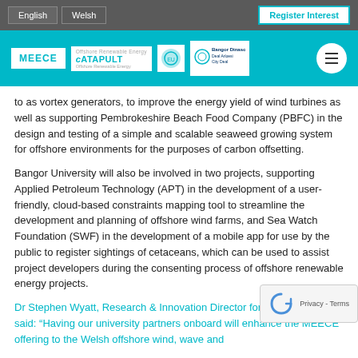English | Welsh | Register Interest
[Figure (logo): MEECE and Catapult logos with Bangor City Deal logo in teal header bar]
to as vortex generators, to improve the energy yield of wind turbines as well as supporting Pembrokeshire Beach Food Company (PBFC) in the design and testing of a simple and scalable seaweed growing system for offshore environments for the purposes of carbon offsetting.
Bangor University will also be involved in two projects, supporting Applied Petroleum Technology (APT) in the development of a user-friendly, cloud-based constraints mapping tool to streamline the development and planning of offshore wind farms, and Sea Watch Foundation (SWF) in the development of a mobile app for use by the public to register sightings of cetaceans, which can be used to assist project developers during the consenting process of offshore renewable energy projects.
Dr Stephen Wyatt, Research & Innovation Director for ORE Catapult, said: “Having our university partners onboard will enhance the MEECE offering to the Welsh offshore wind, wave and